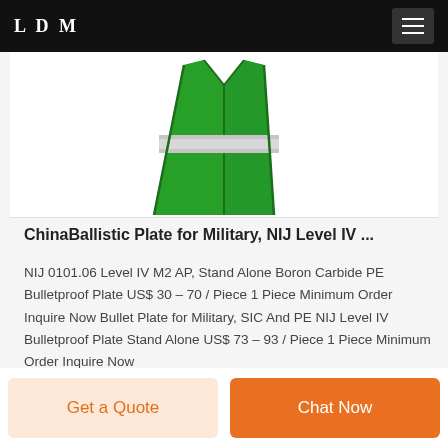LDM
[Figure (photo): Green high-visibility reflective safety vest with white reflective stripe, shown from front on white background. Product photo partially cropped at top.]
ChinaBallistic Plate for Military, NIJ Level IV ...
NIJ 0101.06 Level IV M2 AP, Stand Alone Boron Carbide PE Bulletproof Plate US$ 30 – 70 / Piece 1 Piece Minimum Order Inquire Now Bullet Plate for Military, SIC And PE NIJ Level IV Bulletproof Plate Stand Alone US$ 73 – 93 / Piece 1 Piece Minimum Order Inquire Now